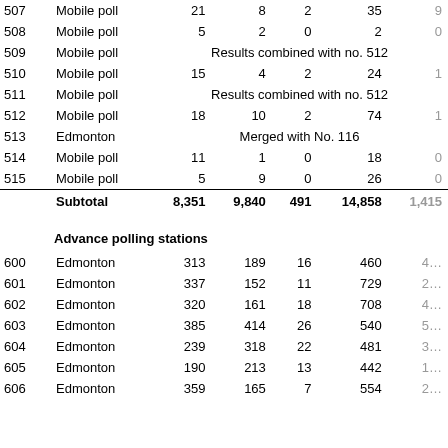| Poll | Location | Col3 | Col4 | Col5 | Col6 | Col7+ |
| --- | --- | --- | --- | --- | --- | --- |
| 507 | Mobile poll | 21 | 8 | 2 | 35 | … |
| 508 | Mobile poll | 5 | 2 | 0 | 2 | … |
| 509 | Mobile poll | Results combined with no. 512 |  |  |  |  |
| 510 | Mobile poll | 15 | 4 | 2 | 24 | … |
| 511 | Mobile poll | Results combined with no. 512 |  |  |  |  |
| 512 | Mobile poll | 18 | 10 | 2 | 74 | … |
| 513 | Edmonton | Merged with No. 116 |  |  |  |  |
| 514 | Mobile poll | 11 | 1 | 0 | 18 | … |
| 515 | Mobile poll | 5 | 9 | 0 | 26 | … |
|  | Subtotal | 8,351 | 9,840 | 491 | 14,858 | 1,415… |
| 600 | Edmonton | 313 | 189 | 16 | 460 | 4… |
| 601 | Edmonton | 337 | 152 | 11 | 729 | 2… |
| 602 | Edmonton | 320 | 161 | 18 | 708 | 4… |
| 603 | Edmonton | 385 | 414 | 26 | 540 | 5… |
| 604 | Edmonton | 239 | 318 | 22 | 481 | 3… |
| 605 | Edmonton | 190 | 213 | 13 | 442 | 1… |
| 606 | Edmonton | 359 | 165 | 7 | 554 | 2… |